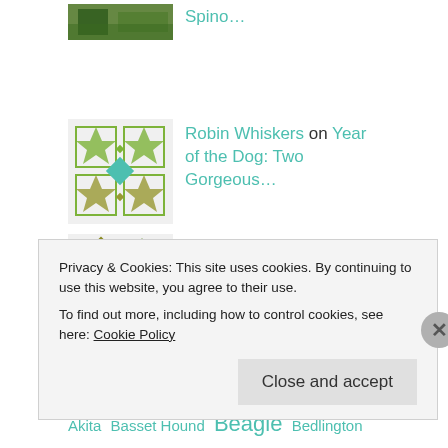Robin Whiskers on Year of the Dog: Two Gorgeous...
Miça Quartey on Year of the Dog: Two Gorgeous...
TAGS
Akita Basset Hound Beagle Bedlington Terrier Bichon Frise Black Labrador Bolton Border Collie Border Terrier Boxer Boxerset Bulldog...
Privacy & Cookies: This site uses cookies. By continuing to use this website, you agree to their use.
To find out more, including how to control cookies, see here: Cookie Policy
Close and accept